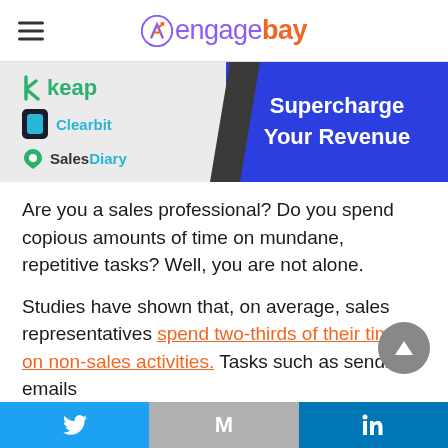EngageBay
[Figure (infographic): Banner showing Keap, Clearbit, and SalesDiary logos on grey background left side with diagonal dark separator and blue right side reading 'Supercharge Your Revenue']
Are you a sales professional? Do you spend copious amounts of time on mundane, repetitive tasks? Well, you are not alone.
Studies have shown that, on average, sales representatives spend two-thirds of their time on non-sales activities. Tasks such as sending emails
Twitter | M (Gmail) | LinkedIn